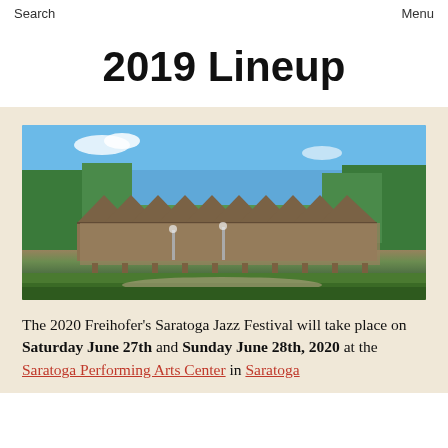Search    Menu
2019 Lineup
[Figure (photo): Panoramic photo of the Saratoga Performing Arts Center, a large open-air wooden pavilion structure surrounded by green trees and lawn on a sunny day.]
The 2020 Freihofer’s Saratoga Jazz Festival will take place on Saturday June 27th and Sunday June 28th, 2020 at the Saratoga Performing Arts Center in Saratoga